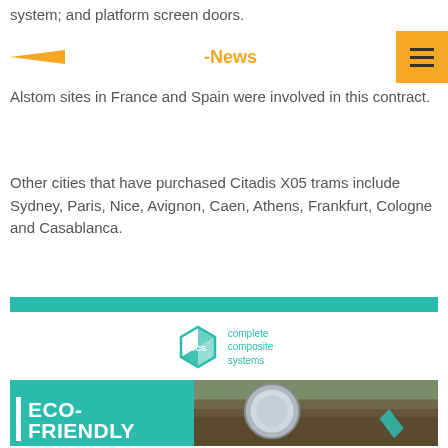system; and platform screen doors.
-News
Alstom sites in France and Spain were involved in this contract.
Other cities that have purchased Citadis X05 trams include Sydney, Paris, Nice, Avignon, Caen, Athens, Frankfurt, Cologne and Casablanca.
[Figure (logo): Complete Composite Systems logo with teal cube icon and company name text]
[Figure (photo): Eco-friendly banner with teal background on left showing ECO-FRIENDLY text and photo of pipe in soil on right]